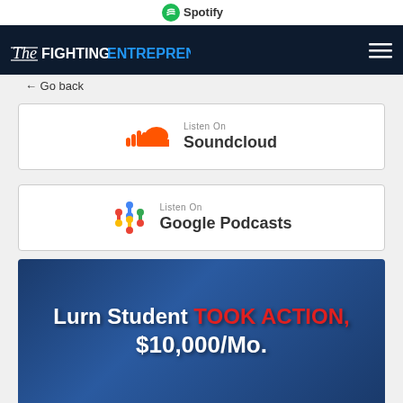[Figure (screenshot): Spotify listen bar at top]
The Fighting Entrepreneur
← Go back
[Figure (logo): Listen On Soundcloud card with Soundcloud orange wave logo]
[Figure (logo): Listen On Google Podcasts card with colorful Google Podcasts icon]
[Figure (logo): Listen On Youtube card with red YouTube play button logo]
[Figure (photo): Promotional image: Lurn Student TOOK ACTION, $10,000/Mo.]